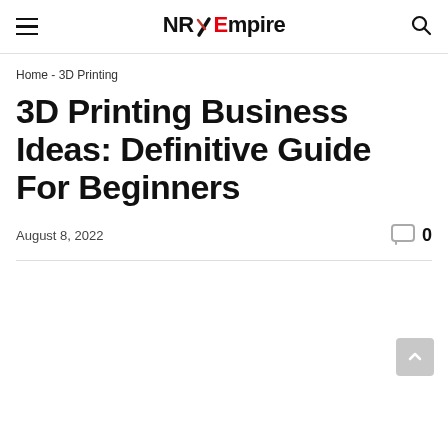NRX Empire — hamburger menu and search icon
Home - 3D Printing
3D Printing Business Ideas: Definitive Guide For Beginners
August 8, 2022   0 comments